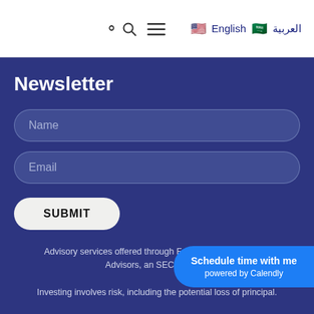🔍 ☰  🇺🇸 English  🇸🇦 العربية
Newsletter
Name
Email
SUBMIT
Advisory services offered through Foundations Investment Advisors, an SEC Regist...
Investing involves risk, including the potential loss of principal.
Schedule time with me
powered by Calendly